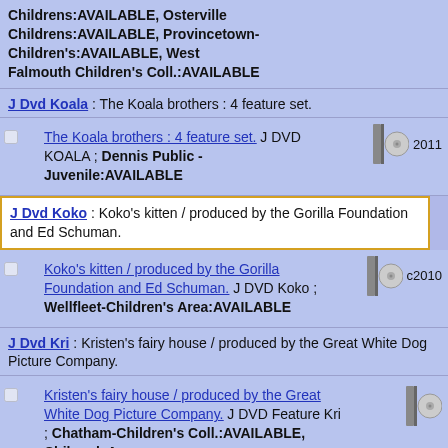Childrens:AVAILABLE, Osterville Childrens:AVAILABLE, Provincetown-Children's:AVAILABLE, West Falmouth Children's Coll.:AVAILABLE
J Dvd Koala : The Koala brothers : 4 feature set.
The Koala brothers : 4 feature set. J DVD KOALA ; Dennis Public - Juvenile:AVAILABLE 2011
J Dvd Koko : Koko's kitten / produced by the Gorilla Foundation and Ed Schuman.
Koko's kitten / produced by the Gorilla Foundation and Ed Schuman. J DVD Koko ; Wellfleet-Children's Area:AVAILABLE c2010
J Dvd Kri : Kristen's fairy house / produced by the Great White Dog Picture Company.
Kristen's fairy house / produced by the Great White Dog Picture Company. J DVD Feature Kri ; Chatham-Children's Coll.:AVAILABLE, Chilmark A...